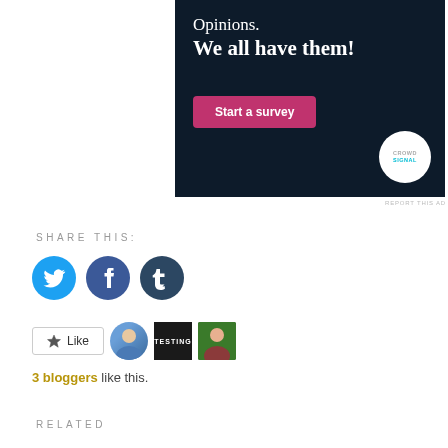[Figure (illustration): Advertisement banner with dark navy background. Text reads 'Opinions. We all have them!' with a pink 'Start a survey' button and Crowdsignal logo circle on the right.]
REPORT THIS AD
SHARE THIS:
[Figure (illustration): Three social media share icons: Twitter (blue), Facebook (blue), Tumblr (dark blue)]
[Figure (illustration): Like button with star icon, followed by three blogger avatars]
3 bloggers like this.
RELATED